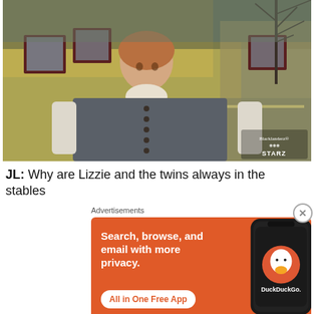[Figure (photo): A man in 18th-century period costume — grey waistcoat with buttons, white ruffled shirt — standing outdoors looking upward, in front of a yellow colonial-style house with dark red shutters and bare winter trees. A watermark in the bottom right reads 'Blacklanderz® STARZ'.]
JL: Why are Lizzie and the twins always in the stables
[Figure (other): DuckDuckGo advertisement banner with orange background. Text reads: 'Search, browse, and email with more privacy. All in One Free App'. Shows a smartphone with the DuckDuckGo app logo and wordmark 'DuckDuckGo.' on the right side.]